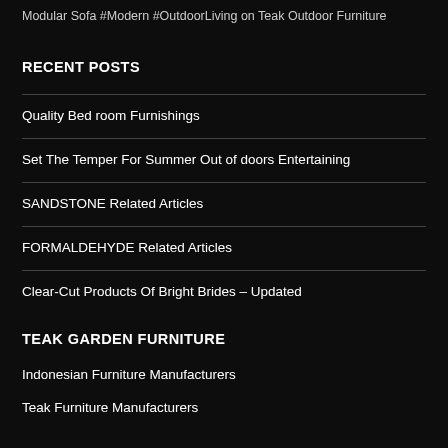Modular Sofa #Modern #OutdoorLiving on Teak Outdoor Furniture
RECENT POSTS
Quality Bed room Furnishings
Set The Temper For Summer Out of doors Entertaining
SANDSTONE Related Articles
FORMALDEHYDE Related Articles
Clear-Cut Products Of Bright Brides – Updated
TEAK GARDEN FURNITURE
Indonesian Furniture Manufacturers
Teak Furniture Manufacturers